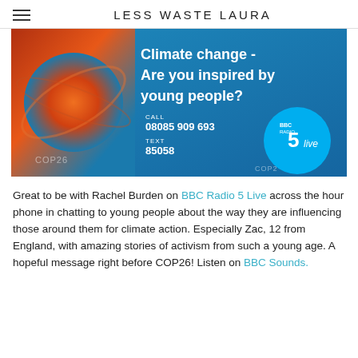LESS WASTE LAURA
[Figure (photo): BBC Radio 5 Live promotional banner for a climate change phone-in show. Left side shows a fiery globe illustration. Right side on blue background reads 'Climate change - Are you inspired by young people?' with call number 08085 909 693, text number 85058, and BBC Radio 5 Live logo. COP26 branding visible.]
Great to be with Rachel Burden on BBC Radio 5 Live across the hour phone in chatting to young people about the way they are influencing those around them for climate action. Especially Zac, 12 from England, with amazing stories of activism from such a young age. A hopeful message right before COP26! Listen on BBC Sounds.